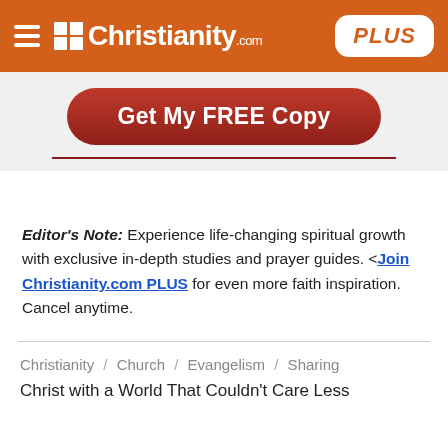Christianity.com PLUS
[Figure (other): Get My FREE Copy button - red rounded rectangle button with white bold text]
Editor's Note: Experience life-changing spiritual growth with exclusive in-depth studies and prayer guides. <Join Christianity.com PLUS for even more faith inspiration. Cancel anytime.
Christianity / Church / Evangelism / Sharing
Christ with a World That Couldn't Care Less